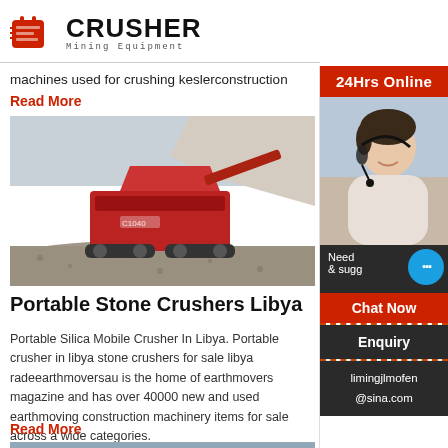[Figure (logo): Crusher Mining Equipment logo with red shopping bag icon and bold black CRUSHER text]
machines used for crushing keslerconstruction
Read More
[Figure (photo): Red mobile stone crusher machine on treads working on a gravel pile outdoors]
Portable Stone Crushers Libya
Portable Silica Mobile Crusher In Libya. Portable crusher in libya stone crushers for sale libya radeearthmoversau is the home of earthmovers magazine and has over 40000 new and used earthmoving construction machinery items for sale across a wide categories.
Read More
[Figure (photo): Industrial crusher facility with conveyor belts and buildings in background]
[Figure (infographic): 24Hrs Online sidebar with customer service agent photo, chat bubble, Chat Now button, Enquiry section, and email limingjlmofen@sina.com]